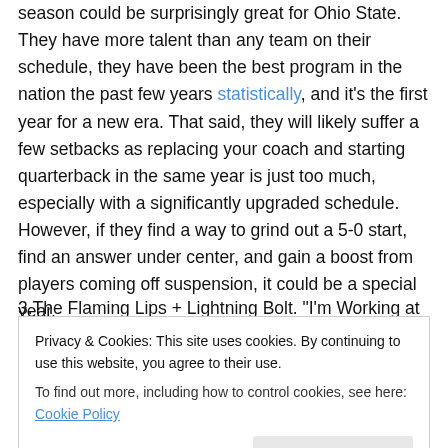season could be surprisingly great for Ohio State. They have more talent than any team on their schedule, they have been the best program in the nation the past few years statistically, and it's the first year for a new era. That said, they will likely suffer a few setbacks as replacing your coach and starting quarterback in the same year is just too much, especially with a significantly upgraded schedule. However, if they find a way to grind out a 5-0 start, find an answer under center, and gain a boost from players coming off suspension, it could be a special year.
3.The Flaming Lips + Lightning Bolt. "I'm Working at NASA
Privacy & Cookies: This site uses cookies. By continuing to use this website, you agree to their use. To find out more, including how to control cookies, see here: Cookie Policy
Lightning Bolt's energey, but the cool, retro aesthetic is